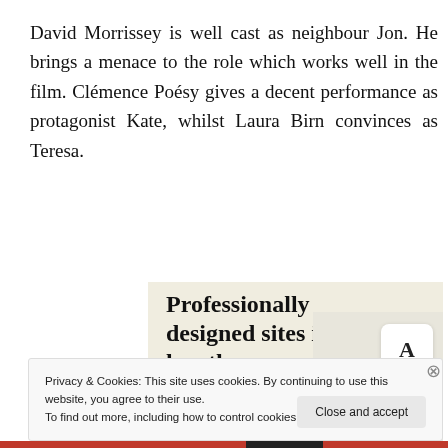David Morrissey is well cast as neighbour Jon. He brings a menace to the role which works well in the film. Clémence Poésy gives a decent performance as protagonist Kate, whilst Laura Birn convinces as Teresa.
[Figure (screenshot): Advertisement banner with beige background showing 'Professionally designed sites in less than a week' with a green 'Explore options' button and mockup images of web designs]
Privacy & Cookies: This site uses cookies. By continuing to use this website, you agree to their use.
To find out more, including how to control cookies, see here: Cookie Policy
Close and accept